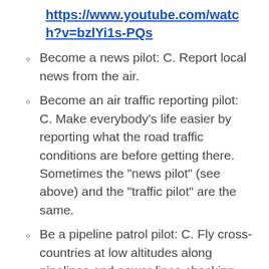https://www.youtube.com/watch?v=bzlYi1s-PQs
Become a news pilot: C. Report local news from the air.
Become an air traffic reporting pilot: C. Make everybody's life easier by reporting what the road traffic conditions are before getting there. Sometimes the “news pilot” (see above) and the “traffic pilot” are the same.
Be a pipeline patrol pilot: C. Fly cross-countries at low altitudes along pipelines and power lines checking for signs of damage, vandalism and other conditions requiring repairs. Don't worry, you don't have to do the repairs yourself and it normally requires a pilot and an observer!